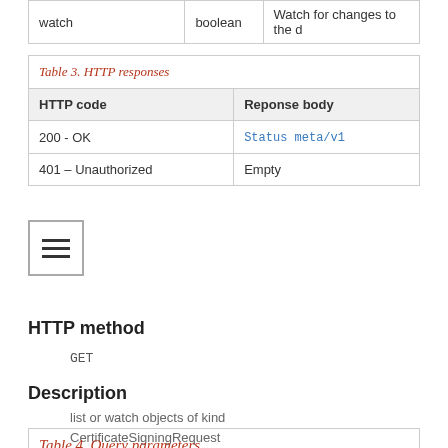| watch | boolean | Watch for changes to the d |
| --- | --- | --- |
| HTTP code | Reponse body |
| --- | --- |
| 200 - OK | Status meta/v1 |
| 401 - Unauthorized | Empty |
HTTP method
GET
Description
list or watch objects of kind CertificateSigningRequest